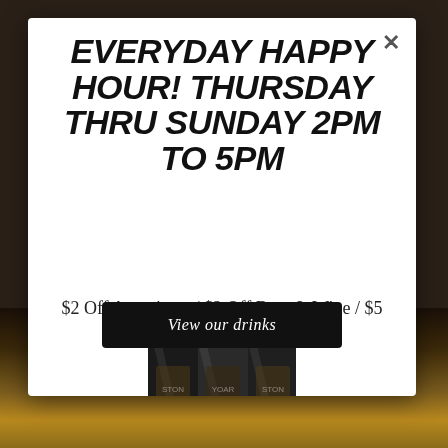EVERYDAY HAPPY HOUR! THURSDAY THRU SUNDAY 2PM TO 5PM
$2 Off Appetizers / $2 Off Beer & Wine / $5 Off Pitchers
[Figure (photo): Dark photo showing beer tap handles or bottles with labels]
View our drinks